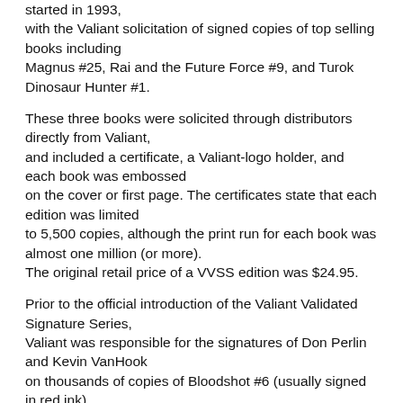started in 1993, with the Valiant solicitation of signed copies of top selling books including Magnus #25, Rai and the Future Force #9, and Turok Dinosaur Hunter #1.
These three books were solicited through distributors directly from Valiant, and included a certificate, a Valiant-logo holder, and each book was embossed on the cover or first page. The certificates state that each edition was limited to 5,500 copies, although the print run for each book was almost one million (or more). The original retail price of a VVSS edition was $24.95.
Prior to the official introduction of the Valiant Validated Signature Series, Valiant was responsible for the signatures of Don Perlin and Kevin VanHook on thousands of copies of Bloodshot #6 (usually signed in red ink). Bloodshot #6 has been determined to be VVSS-related, but it does not have an accompanying certificate from Valiant, nor is it embossed.
In June 1993, VALIANT asked dealers to take part in a VALIANT/Diamond survey and offered two signed copies of X-O Database #1 to participants. Though the crew also...